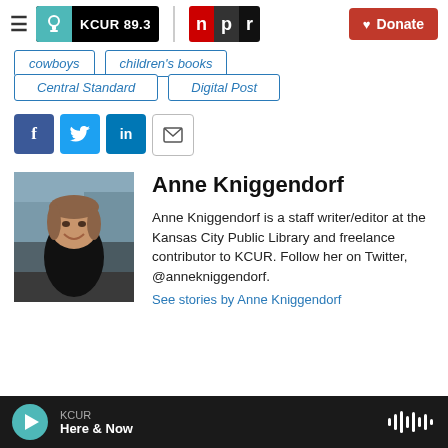KCUR 89.3 | npr | Donate
cowboys
children's books
Central Standard
Digital Post
[Figure (infographic): Social share buttons: Facebook, Twitter, LinkedIn, Email]
[Figure (photo): Headshot of Anne Kniggendorf, a woman with brown hair wearing a black top, smiling outdoors with a city background]
Anne Kniggendorf
Anne Kniggendorf is a staff writer/editor at the Kansas City Public Library and freelance contributor to KCUR. Follow her on Twitter, @annekniggendorf.
See stories by Anne Kniggendorf
KCUR Here & Now